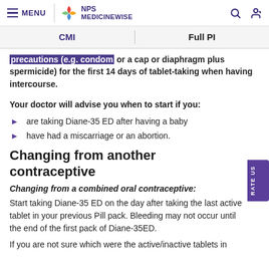MENU | NPS MEDICINEWISE
CMI | Full PI
precautions (e.g. condom or a cap or diaphragm plus spermicide) for the first 14 days of tablet-taking when having intercourse.
Your doctor will advise you when to start if you:
are taking Diane-35 ED after having a baby
have had a miscarriage or an abortion.
Changing from another contraceptive
Changing from a combined oral contraceptive:
Start taking Diane-35 ED on the day after taking the last active tablet in your previous Pill pack. Bleeding may not occur until the end of the first pack of Diane-35ED.
If you are not sure which were the active/inactive tablets in